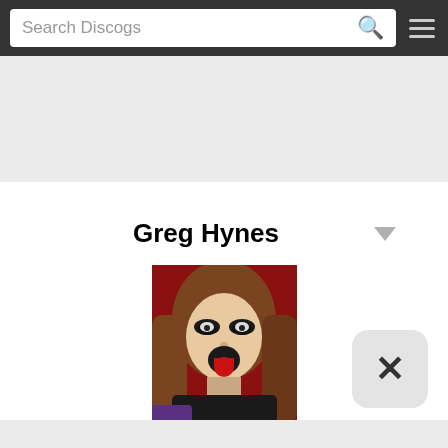Search Discogs
[Figure (photo): Artist profile photo of Greg Hynes: person with long brown hair, theatrical makeup with dark eyes, open mouth showing red tongue, against red background]
Greg Hynes